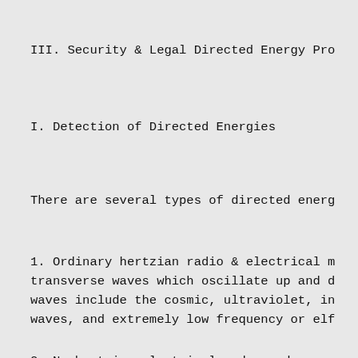III. Security & Legal Directed Energy Pro
I. Detection of Directed Energies
There are several types of directed energ
1. Ordinary hertzian radio & electrical m transverse waves which oscillate up and d waves include the cosmic, ultraviolet, in waves, and extremely low frequency or elf
2. Nonhertzian electrical and sound waves waves which oscillate sideways, back and waves include pure electrical waves, stat waves such as sonar, and ultrasound. Long